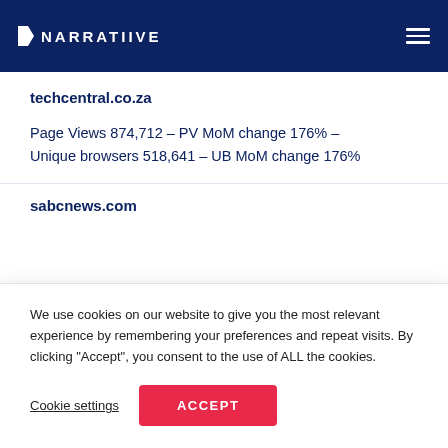NARRATIIVE
techcentral.co.za
Page Views 874,712 – PV MoM change 176% – Unique browsers 518,641 – UB MoM change 176%
sabcnews.com
We use cookies on our website to give you the most relevant experience by remembering your preferences and repeat visits. By clicking "Accept", you consent to the use of ALL the cookies.